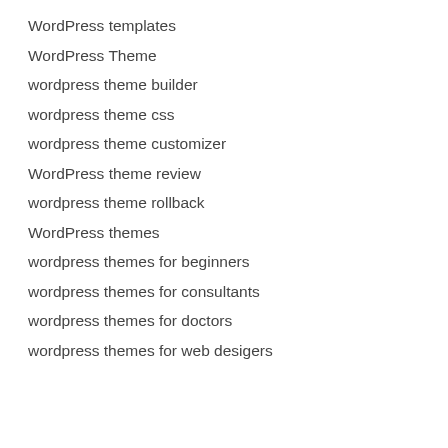WordPress templates
WordPress Theme
wordpress theme builder
wordpress theme css
wordpress theme customizer
WordPress theme review
wordpress theme rollback
WordPress themes
wordpress themes for beginners
wordpress themes for consultants
wordpress themes for doctors
wordpress themes for web desigers